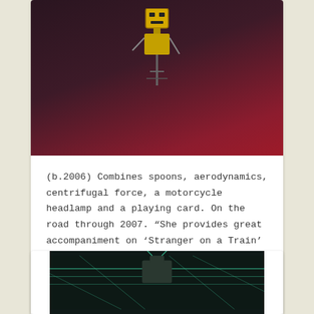[Figure (photo): Photo of a robot or toy figure with yellow head on a dark red/maroon background, cropped at top]
(b.2006) Combines spoons, aerodynamics, centrifugal force, a motorcycle headlamp and a playing card. On the road through 2007. “She provides great accompaniment on ‘Stranger on a Train’ replicating the sound [...]
Posted in Uncategorized    Leave a comment
[Figure (photo): Photo of a robot figure with antennae in a dark blue/teal-lit environment, partially visible at bottom of page]